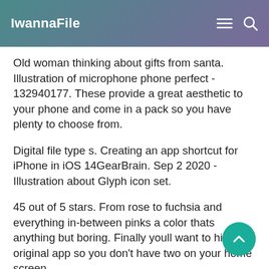IwannaFile
Old woman thinking about gifts from santa. Illustration of microphone phone perfect - 132940177. These provide a great aesthetic to your phone and come in a pack so you have plenty to choose from.
Digital file type s. Creating an app shortcut for iPhone in iOS 14GearBrain. Sep 2 2020 - Illustration about Glyph icon set.
45 out of 5 stars. From rose to fuchsia and everything in-between pinks a color thats anything but boring. Finally youll want to hide the original app so you dont have two on your home screen.
Create realistic photo collages. Tap on the Choose Photo button and pick a photo to use as a cover.